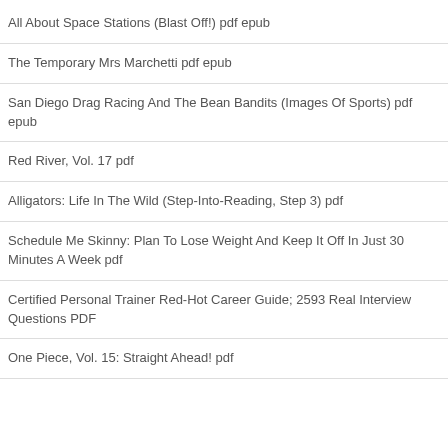All About Space Stations (Blast Off!) pdf epub
The Temporary Mrs Marchetti pdf epub
San Diego Drag Racing And The Bean Bandits (Images Of Sports) pdf epub
Red River, Vol. 17 pdf
Alligators: Life In The Wild (Step-Into-Reading, Step 3) pdf
Schedule Me Skinny: Plan To Lose Weight And Keep It Off In Just 30 Minutes A Week pdf
Certified Personal Trainer Red-Hot Career Guide; 2593 Real Interview Questions PDF
One Piece, Vol. 15: Straight Ahead! pdf